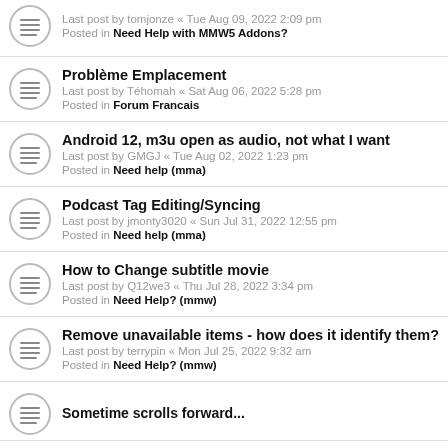Last post by tomjonze « Tue Aug 09, 2022 2:09 pm
Posted in Need Help with MMW5 Addons?
Problème Emplacement
Last post by Téhomah « Sat Aug 06, 2022 5:28 pm
Posted in Forum Francais
Android 12, m3u open as audio, not what I want
Last post by GMGJ « Tue Aug 02, 2022 1:23 pm
Posted in Need help (mma)
Podcast Tag Editing/Syncing
Last post by jmonty3020 « Sun Jul 31, 2022 12:55 pm
Posted in Need help (mma)
How to Change subtitle movie
Last post by Q12we3 « Thu Jul 28, 2022 3:34 pm
Posted in Need Help? (mmw)
Remove unavailable items - how does it identify them?
Last post by terrypin « Mon Jul 25, 2022 9:32 am
Posted in Need Help? (mmw)
Sometime scrolls forward...